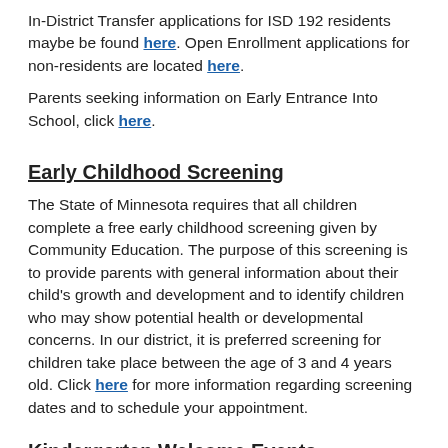In-District Transfer applications for ISD 192 residents maybe be found here. Open Enrollment applications for non-residents are located here.
Parents seeking information on Early Entrance Into School, click here.
Early Childhood Screening
The State of Minnesota requires that all children complete a free early childhood screening given by Community Education. The purpose of this screening is to provide parents with general information about their child's growth and development and to identify children who may show potential health or developmental concerns. In our district, it is preferred screening for children take place between the age of 3 and 4 years old. Click here for more information regarding screening dates and to schedule your appointment.
Kindergarten Welcome Events
For the 2022-23 school year, we are hoping to hold welcome events over the summer for incoming kindergarten families at all elementary schools to give you and your child a chance to see where they will be going to kindergarten next to place and also